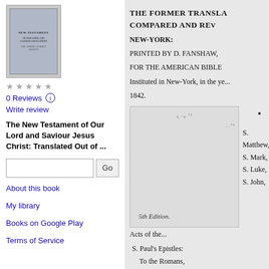[Figure (illustration): Book cover thumbnail for The New Testament]
0 Reviews
Write review
The New Testament of Our Lord and Saviour Jesus Christ: Translated Out of ...
About this book
My library
Books on Google Play
Terms of Service
THE FORMER TRANSLA... COMPARED AND RE...
NEW-YORK:
PRINTED BY D. FANSHAW,
FOR THE AMERICAN BIBLE
Instituted in New-York, in the ye...
1842.
[Figure (illustration): Book page showing 5th Edition label with table of contents listing S. Matthew, S. Mark, S. Luke, S. John]
S. Matthew,
S. Mark,
S. Luke,
S. John,
Acts of the...
S. Paul's Epistles:
To the Romans,
1st to the Corinthians,
2d to the Corinthians,